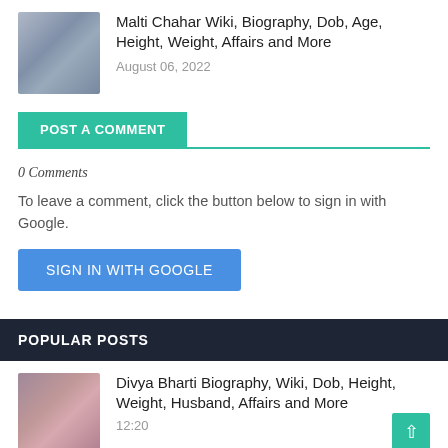[Figure (photo): Thumbnail photo of Malti Chahar]
Malti Chahar Wiki, Biography, Dob, Age, Height, Weight, Affairs and More
August 06, 2022
POST A COMMENT
0 Comments
To leave a comment, click the button below to sign in with Google.
SIGN IN WITH GOOGLE
POPULAR POSTS
[Figure (photo): Thumbnail photo of Divya Bharti]
Divya Bharti Biography, Wiki, Dob, Height, Weight, Husband, Affairs and More
12:20